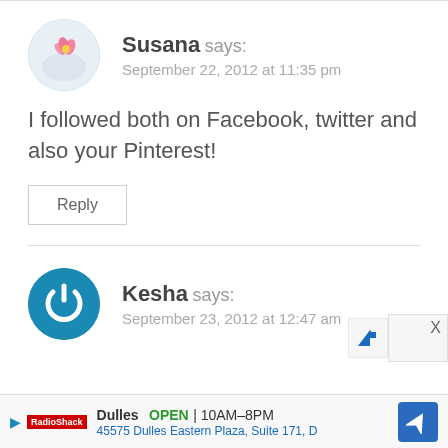Susana says: September 22, 2012 at 11:35 pm
I followed both on Facebook, twitter and also your Pinterest!
Reply
Kesha says: September 23, 2012 at 12:47 am
Dulles OPEN 10AM–8PM 45575 Dulles Eastern Plaza, Suite 171, D